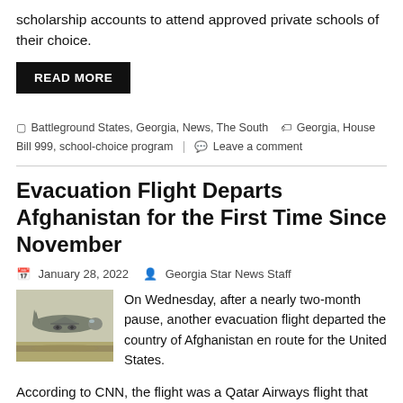scholarship accounts to attend approved private schools of their choice.
READ MORE
Battleground States, Georgia, News, The South  Georgia, House Bill 999, school-choice program  Leave a comment
Evacuation Flight Departs Afghanistan for the First Time Since November
January 28, 2022   Georgia Star News Staff
[Figure (photo): Military cargo aircraft (C-130 style) taking off or landing on a runway]
On Wednesday, after a nearly two-month pause, another evacuation flight departed the country of Afghanistan en route for the United States.
According to CNN, the flight was a Qatar Airways flight that departed from Kabul, the capital of Afghanistan, paid for by the United States government, with an unknown number of American citizens on board. It is the first such flight in